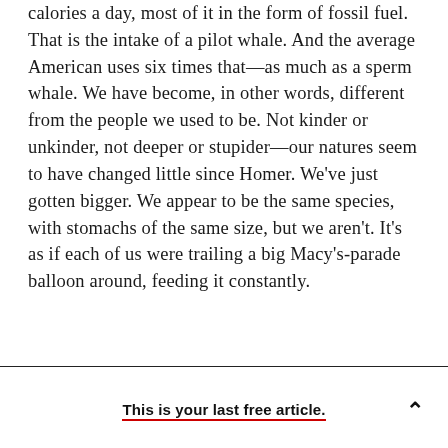calories a day, most of it in the form of fossil fuel. That is the intake of a pilot whale. And the average American uses six times that—as much as a sperm whale. We have become, in other words, different from the people we used to be. Not kinder or unkinder, not deeper or stupider—our natures seem to have changed little since Homer. We've just gotten bigger. We appear to be the same species, with stomachs of the same size, but we aren't. It's as if each of us were trailing a big Macy's-parade balloon around, feeding it constantly.
This is your last free article.